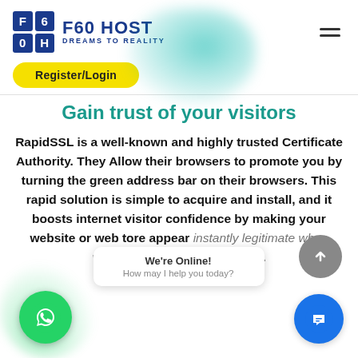[Figure (logo): F60 HOST logo with grid of blue squares showing F, 6, 0, H letters and tagline DREAMS TO REALITY]
[Figure (illustration): Teal/cyan blurred shield shape in background]
[Figure (other): Yellow Register/Login pill button]
Gain trust of your visitors
RapidSSL is a well-known and highly trusted Certificate Authority. They Allow their browsers to promote you by turning the green address bar on their browsers. This rapid solution is simple to acquire and install, and it boosts internet visitor confidence by making your website or web tore appear instantly legitimate when viewed on any major browser.
[Figure (other): WhatsApp green circle button at bottom left]
[Figure (other): Gray up-arrow circle button at bottom right]
[Figure (other): Blue chat circle button at bottom right]
We're Online!
How may I help you today?